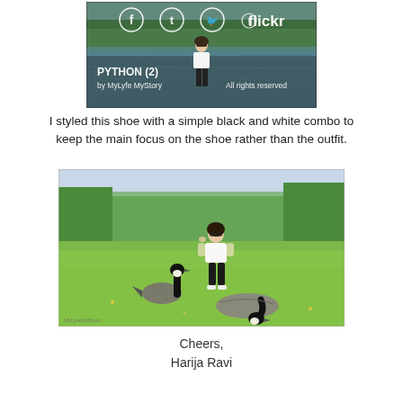[Figure (photo): Outdoor photo near a lake/pond. A woman in white top and black leggings stands on a rock near the water. Trees reflect in the water. Social media icons (Facebook, Tumblr, Twitter, Flickr) appear at top. Text overlay: 'PYTHON (2) by MyLyfe MyStory' and 'All rights reserved'.]
I styled this shoe with a simple black and white combo to keep the main focus on the shoe rather than the outfit.
[Figure (photo): Outdoor photo in a park/garden. A woman in white top and black leggings walks on green grass. Two Canada geese are in the foreground. Trees in background. Small watermark text at bottom left.]
Cheers,
Harija Ravi